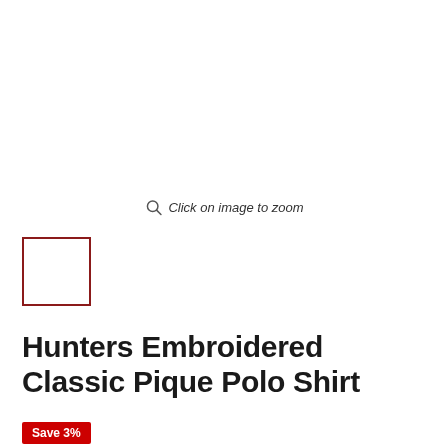Click on image to zoom
[Figure (other): Small thumbnail image box with dark red border, empty/white interior, product thumbnail placeholder]
Hunters Embroidered Classic Pique Polo Shirt
Save 3%